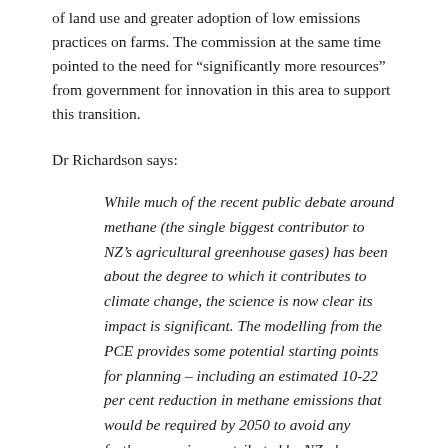of land use and greater adoption of low emissions practices on farms. The commission at the same time pointed to the need for “significantly more resources” from government for innovation in this area to support this transition.
Dr Richardson says:
While much of the recent public debate around methane (the single biggest contributor to NZ’s agricultural greenhouse gases) has been about the degree to which it contributes to climate change, the science is now clear its impact is significant. The modelling from the PCE provides some potential starting points for planning – including an estimated 10-22 per cent reduction in methane emissions that would be required by 2050 to avoid any further warming contributed by NZ above